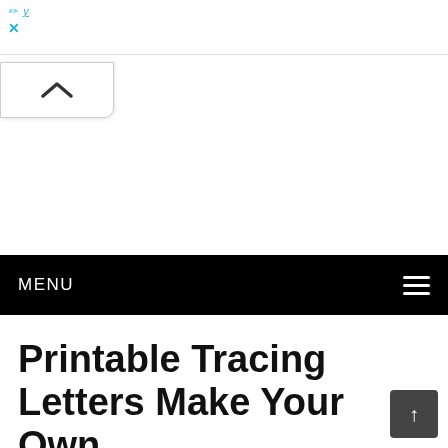x
[Figure (screenshot): Collapse/chevron up button in a white rounded box]
MENU
Printable Tracing Letters Make Your Own